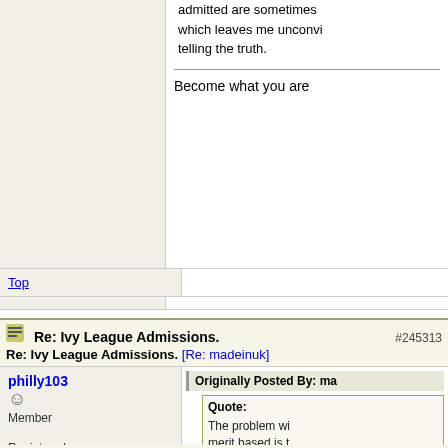admitted are sometimes which leaves me unconvinced telling the truth.
Become what you are
Top
Re: Ivy League Admissions. [Re: madeinuk] #245313
philly103
Member
Registered: 03/02/17
Posts: 95
Originally Posted By: ma
Quote:
The problem wi merit based is t there are too m kids at the top. many perfect SA scores and per GPAs. "Anybody really anybody) tries hard enou get perfect scor perfect grades. the schools hav "holistic" admis which aren't rea